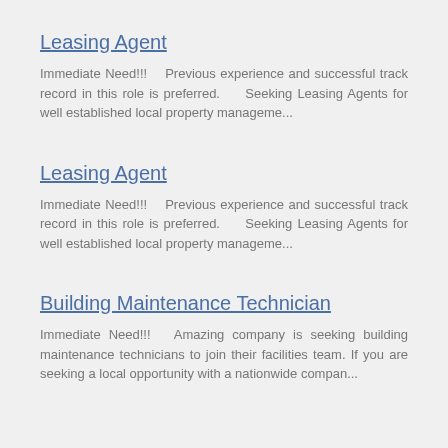Leasing Agent
Immediate Need!!!    Previous experience and successful track record in this role is preferred.     Seeking Leasing Agents for well established local property manageme...
Leasing Agent
Immediate Need!!!    Previous experience and successful track record in this role is preferred.     Seeking Leasing Agents for well established local property manageme...
Building Maintenance Technician
Immediate Need!!!    Amazing company is seeking building maintenance technicians to join their facilities team. If you are seeking a local opportunity with a nationwide compan...